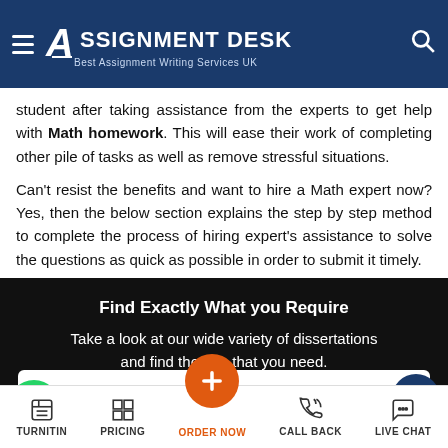[Figure (screenshot): Assignment Desk website header with logo, hamburger menu, and search icon on dark blue background]
student after taking assistance from the experts to get help with Math homework. This will ease their work of completing other pile of tasks as well as remove stressful situations.
Can't resist the benefits and want to hire a Math expert now? Yes, then the below section explains the step by step method to complete the process of hiring expert's assistance to solve the questions as quick as possible in order to submit it timely.
[Figure (screenshot): Black banner with text: Find Exactly What you Require. Take a look at our wide variety of dissertations and find the one that you need.]
Online Assignment Help
MBA Dissertation
TURNITIN  PRICING  ORDER NOW  CALL BACK  LIVE CHAT